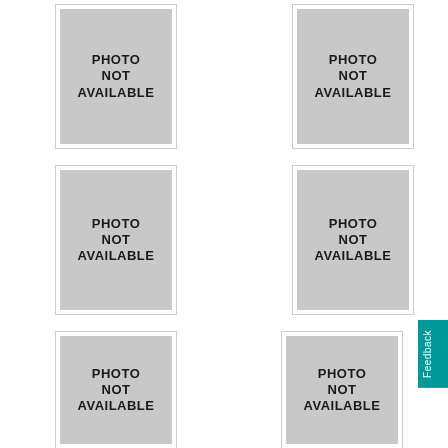[Figure (photo): Photo not available placeholder image, top-left]
[Figure (photo): Photo not available placeholder image, top-right]
[Figure (photo): Photo not available placeholder image, middle-left]
[Figure (photo): Photo not available placeholder image, middle-right]
[Figure (photo): Photo not available placeholder image, bottom-left]
[Figure (photo): Photo not available placeholder image, bottom-right]